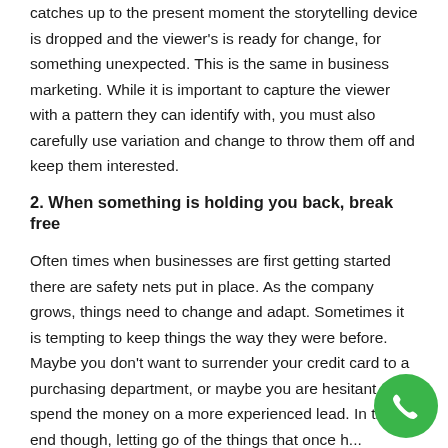catches up to the present moment the storytelling device is dropped and the viewer's is ready for change, for something unexpected. This is the same in business marketing. While it is important to capture the viewer with a pattern they can identify with, you must also carefully use variation and change to throw them off and keep them interested.
2. When something is holding you back, break free
Often times when businesses are first getting started there are safety nets put in place. As the company grows, things need to change and adapt. Sometimes it is tempting to keep things the way they were before. Maybe you don't want to surrender your credit card to a purchasing department, or maybe you are hesitant to spend the money on a more experienced lead. In the end though, letting go of the things that once h...
[Figure (other): Green circular phone/call button icon in bottom-right corner]